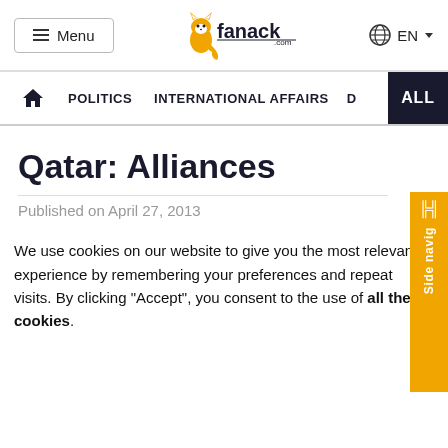Menu | fanack.com | EN
POLITICS   INTERNATIONAL AFFAIRS   D   ALL
Qatar: Alliances
Published on April 27, 2013
We use cookies on our website to give you the most relevant experience by remembering your preferences and repeat visits. By clicking “Accept”, you consent to the use of all the cookies.